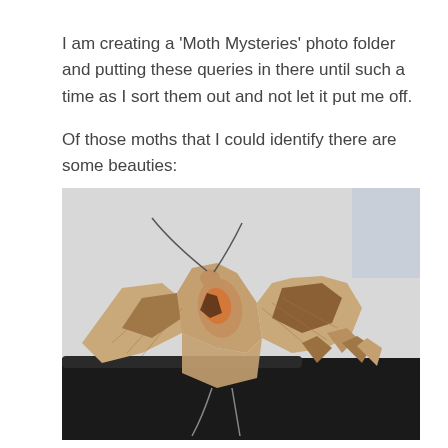I am creating a 'Moth Mysteries' photo folder and putting these queries in there until such a time as I sort them out and not let it put me off.

Of those moths that I could identify there are some beauties:
[Figure (photo): Close-up photograph of a moth with brown, tan, and dark patterned wings with jagged edges, resting on a dark surface against a light grey/white background. The moth has prominent antennae and intricate wing markings.]